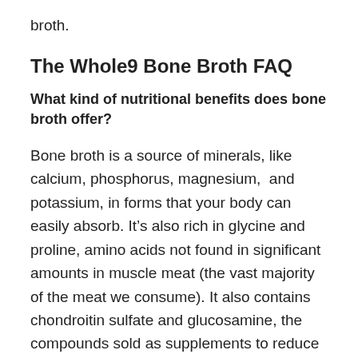broth.
The Whole9 Bone Broth FAQ
What kind of nutritional benefits does bone broth offer?
Bone broth is a source of minerals, like calcium, phosphorus, magnesium,  and potassium, in forms that your body can easily absorb. It's also rich in glycine and proline, amino acids not found in significant amounts in muscle meat (the vast majority of the meat we consume). It also contains chondroitin sulfate and glucosamine, the compounds sold as supplements to reduce inflammation, arthritis, and joint pain. Finally, “soup